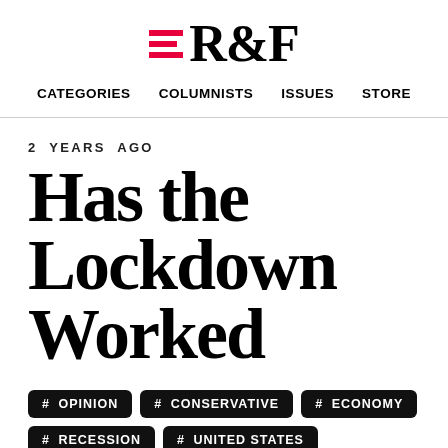R&F — CATEGORIES COLUMNISTS ISSUES STORE
2 YEARS AGO
Has the Lockdown Worked
# OPINION
# CONSERVATIVE
# ECONOMY
# RECESSION
# UNITED STATES
# SHUTDOWN
# DEATH-RATE
# SWEDEN